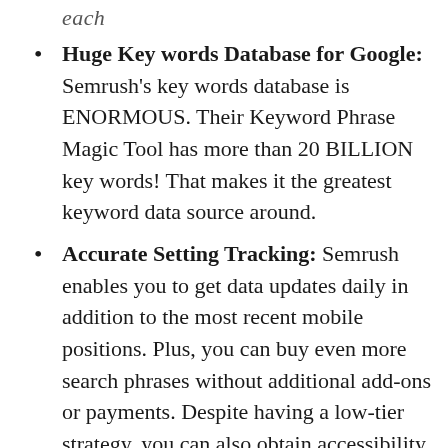Huge Key words Database for Google: Semrush's key words database is ENORMOUS. Their Keyword Phrase Magic Tool has more than 20 BILLION key words! That makes it the greatest keyword data source around.
Accurate Setting Tracking: Semrush enables you to get data updates daily in addition to the most recent mobile positions. Plus, you can buy even more search phrases without additional add-ons or payments. Despite having a low-tier strategy, you can also obtain accessibility to volume information on a neighborhood degree.
Custom Search Engine Optimization Records: You can